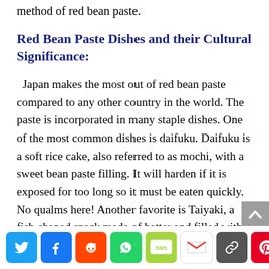method of red bean paste.
Red Bean Paste Dishes and their Cultural Significance:
Japan makes the most out of red bean paste compared to any other country in the world. The paste is incorporated in many staple dishes. One of the most common dishes is daifuku. Daifuku is a soft rice cake, also referred to as mochi, with a sweet bean paste filling. It will harden if it is exposed for too long so it must be eaten quickly. No qualms here! Another favorite is Taiyaki, a fish-shaped snack made of batter and filled with red bean paste. It is considered a must-try